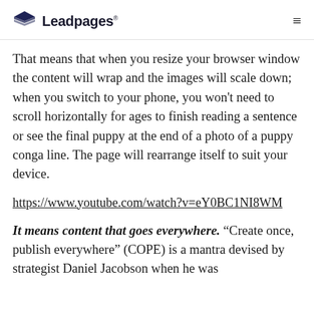Leadpages
That means that when you resize your browser window the content will wrap and the images will scale down; when you switch to your phone, you won't need to scroll horizontally for ages to finish reading a sentence or see the final puppy at the end of a photo of a puppy conga line. The page will rearrange itself to suit your device.
https://www.youtube.com/watch?v=eY0BC1NI8WM
It means content that goes everywhere. “Create once, publish everywhere” (COPE) is a mantra devised by strategist Daniel Jacobson when he was